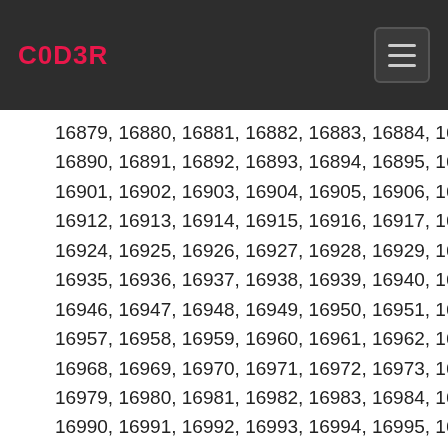C0D3R
16879, 16880, 16881, 16882, 16883, 16884, 16885, 16890, 16891, 16892, 16893, 16894, 16895, 16896, 16901, 16902, 16903, 16904, 16905, 16906, 16907, 16912, 16913, 16914, 16915, 16916, 16917, 16918, 1691, 16924, 16925, 16926, 16927, 16928, 16929, 16930, 16935, 16936, 16937, 16938, 16939, 16940, 16941, 16946, 16947, 16948, 16949, 16950, 16951, 16952, 16957, 16958, 16959, 16960, 16961, 16962, 16963, 16968, 16969, 16970, 16971, 16972, 16973, 16974, 16979, 16980, 16981, 16982, 16983, 16984, 16985, 16990, 16991, 16992, 16993, 16994, 16995, 16996, 17001, 17002, 17003, 17004, 17005, 17006, 17007, 17011, 17012, 17013, 17014, 17015, 17016, 17017, 17022, 17023, 17024, 17025, 17026, 17027, 17028, 17033, 17034, 17035, 17036, 17037, 17038, 17039, 17044, 17045, 17046, 17047, 17048, 17049, 17050